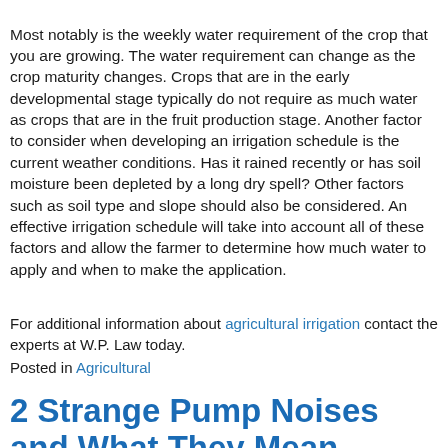Most notably is the weekly water requirement of the crop that you are growing. The water requirement can change as the crop maturity changes. Crops that are in the early developmental stage typically do not require as much water as crops that are in the fruit production stage. Another factor to consider when developing an irrigation schedule is the current weather conditions. Has it rained recently or has soil moisture been depleted by a long dry spell? Other factors such as soil type and slope should also be considered. An effective irrigation schedule will take into account all of these factors and allow the farmer to determine how much water to apply and when to make the application.
For additional information about agricultural irrigation contact the experts at W.P. Law today.
Posted in Agricultural
2 Strange Pump Noises and What They Mean
Posted on October 12, 2017March 1, 2022 by